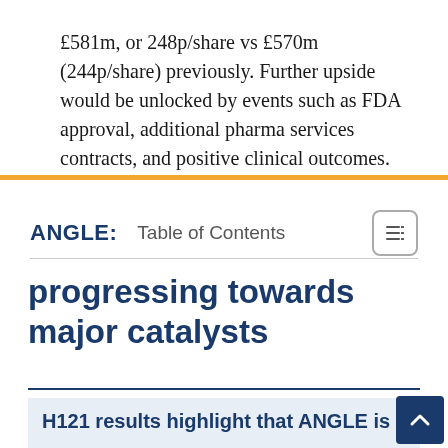£581m, or 248p/share vs £570m (244p/share) previously. Further upside would be unlocked by events such as FDA approval, additional pharma services contracts, and positive clinical outcomes.
ANGLE:   Table of Contents
progressing towards major catalysts
H121 results highlight that ANGLE is